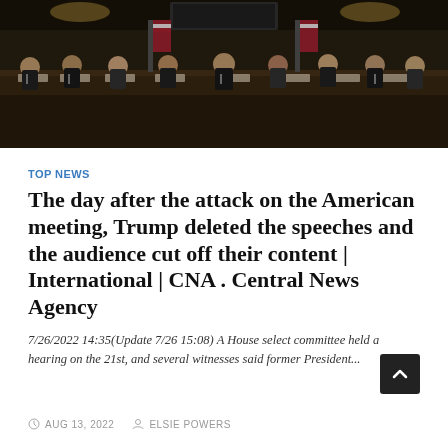[Figure (photo): A House select committee hearing session with members seated at a long elevated bench in a formal hearing room, American flags visible in the background, photographed at low light.]
TOP NEWS
The day after the attack on the American meeting, Trump deleted the speeches and the audience cut off their content | International | CNA . Central News Agency
7/26/2022 14:35(Update 7/26 15:08) A House select committee held a hearing on the 21st, and several witnesses said former President...
AUG 13, 2022   ELSIE POWERS